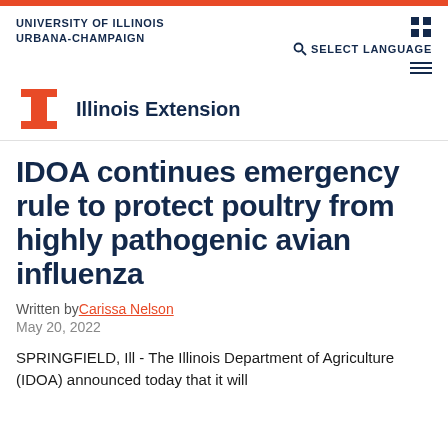UNIVERSITY OF ILLINOIS URBANA-CHAMPAIGN
[Figure (logo): University of Illinois block I logo in orange, with 'Illinois Extension' text beside it]
IDOA continues emergency rule to protect poultry from highly pathogenic avian influenza
Written by Carissa Nelson
May 20, 2022
SPRINGFIELD, Ill - The Illinois Department of Agriculture (IDOA) announced today that it will